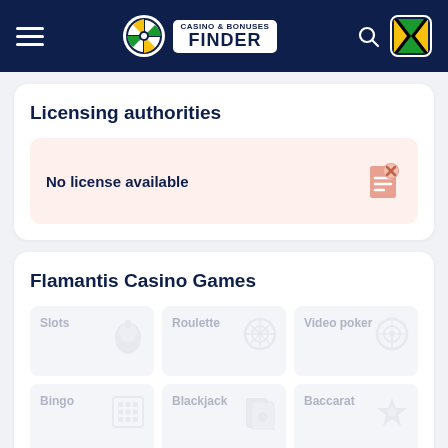Casino & Bonuses Finder
Licensing authorities
No license available
Flamantis Casino Games
Slots
Roulette
Video poker
Bingo
Blackjack
Baccarat
Craps
Keno
Scratch Cards